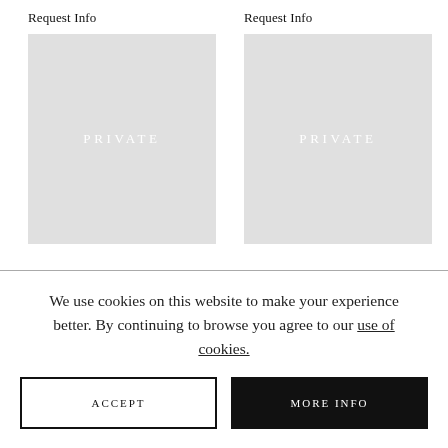Request Info
[Figure (other): Gray placeholder box with white text reading PRIVATE]
Request Info
[Figure (other): Gray placeholder box with white text reading PRIVATE]
We use cookies on this website to make your experience better. By continuing to browse you agree to our use of cookies.
ACCEPT
MORE INFO